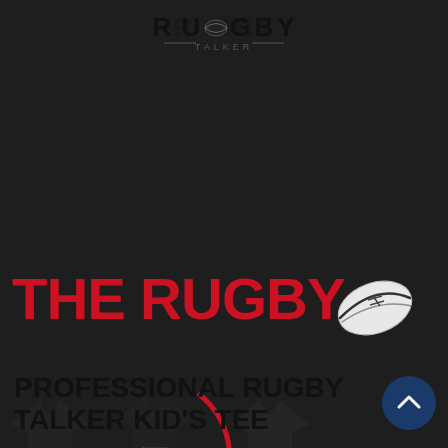[Figure (logo): Rugby Talker logo with rugby ball replacing the 'O' in RUGBY, text TALKER below with decorative lines]
THE RUGBY
[Figure (illustration): White and black rugby ball illustration, rotated slightly, with black lace markings]
[Figure (illustration): Three dark t-shirts with RUGBY text printed on them, with a red circular swoosh arc overlaid on the middle-right area]
PROFESSIONAL RUGBY TALKER KID'S TEE